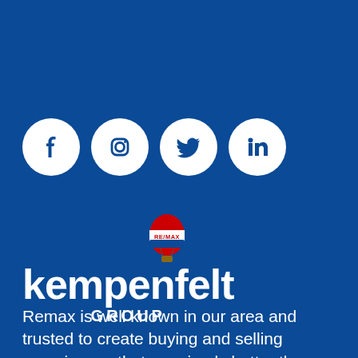[Figure (infographic): Four white circular social media icons on blue background: Facebook, Instagram, Twitter, LinkedIn]
[Figure (logo): RE/MAX hot air balloon logo above 'kempenfelt GROUP' brand name in white on blue background]
Remax is well known in our area and trusted to create buying and selling experiences that are simply better than other realtors. Over the last 10+ years we've established ourselves as the realty office